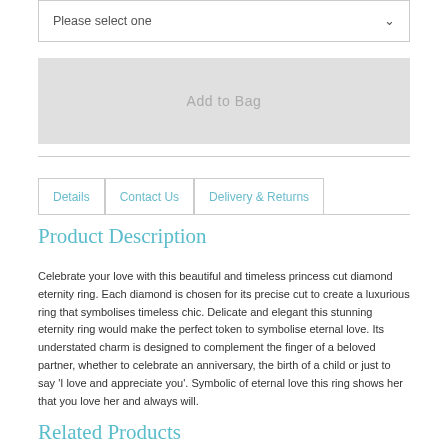Please select one
Add to Bag
Details | Contact Us | Delivery & Returns
Product Description
Celebrate your love with this beautiful and timeless princess cut diamond eternity ring. Each diamond is chosen for its precise cut to create a luxurious ring that symbolises timeless chic. Delicate and elegant this stunning eternity ring would make the perfect token to symbolise eternal love. Its understated charm is designed to complement the finger of a beloved partner, whether to celebrate an anniversary, the birth of a child or just to say 'I love and appreciate you'. Symbolic of eternal love this ring shows her that you love her and always will.
Related Products